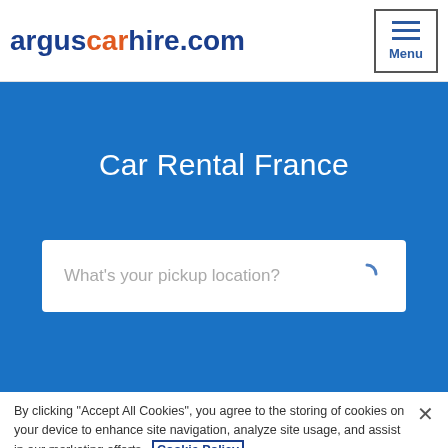arguscarhire.com | Menu
Car Rental France
What's your pickup location?
By clicking “Accept All Cookies”, you agree to the storing of cookies on your device to enhance site navigation, analyze site usage, and assist in our marketing efforts. Cookie Policy